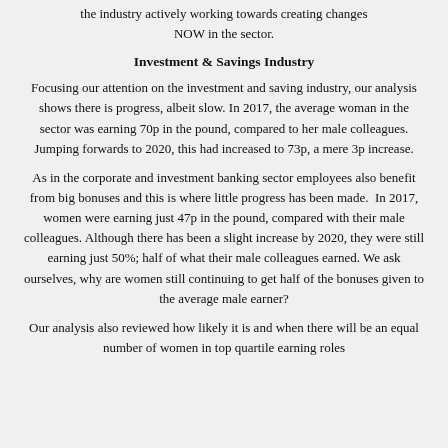the industry actively working towards creating changes NOW in the sector.
Investment & Savings Industry
Focusing our attention on the investment and saving industry, our analysis shows there is progress, albeit slow. In 2017, the average woman in the sector was earning 70p in the pound, compared to her male colleagues. Jumping forwards to 2020, this had increased to 73p, a mere 3p increase.
As in the corporate and investment banking sector employees also benefit from big bonuses and this is where little progress has been made.  In 2017, women were earning just 47p in the pound, compared with their male colleagues. Although there has been a slight increase by 2020, they were still earning just 50%; half of what their male colleagues earned. We ask ourselves, why are women still continuing to get half of the bonuses given to the average male earner?
Our analysis also reviewed how likely it is and when there will be an equal number of women in top quartile earning roles